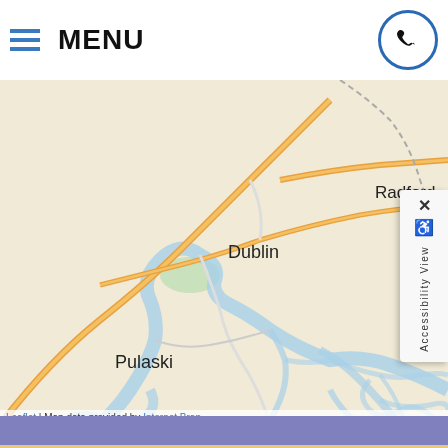MENU
[Figure (map): Road map showing Pulaski, Dublin, Radford, Christiansburg area in Virginia with Interstate 81 and rivers visible]
Leaflet | Map data provided by Internet Bran
Copyright © 2022 MH Sub I, LLC dba iMatrix.    Admin Log In
Site Map